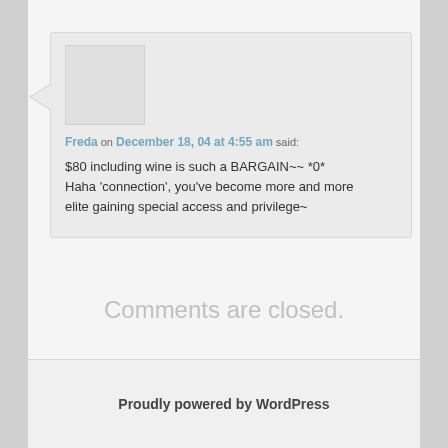Freda on December 18, 04 at 4:55 am said: $80 including wine is such a BARGAIN~~ *0* Haha ‘connection’, you’ve become more and more elite gaining special access and privilege~
Comments are closed.
Proudly powered by WordPress